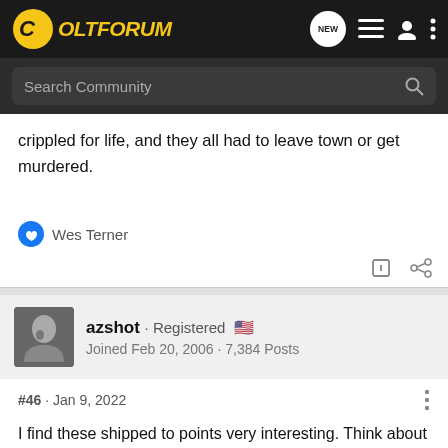ColtForum — Search Community
crippled for life, and they all had to leave town or get murdered.
👍 Wes Terner
azshot · Registered 🇺🇸
Joined Feb 20, 2006 · 7,384 Posts
#46 · Jan 9, 2022
I find these shipped to points very interesting. Think about how many collectors try to find Colts shipped to "interesting places or historic people". No one pays up for a SAA shipped to "just a hardware store." But I've always figured, most... almost ALL...